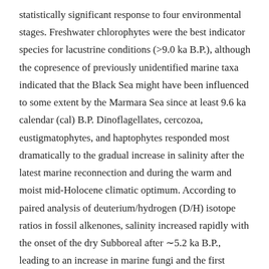statistically significant response to four environmental stages. Freshwater chlorophytes were the best indicator species for lacustrine conditions (>9.0 ka B.P.), although the copresence of previously unidentified marine taxa indicated that the Black Sea might have been influenced to some extent by the Marmara Sea since at least 9.6 ka calendar (cal) B.P. Dinoflagellates, cercozoa, eustigmatophytes, and haptophytes responded most dramatically to the gradual increase in salinity after the latest marine reconnection and during the warm and moist mid-Holocene climatic optimum. According to paired analysis of deuterium/hydrogen (D/H) isotope ratios in fossil alkenones, salinity increased rapidly with the onset of the dry Subboreal after ∼5.2 ka B.P., leading to an increase in marine fungi and the first occurrence of marine copepods. A gradual succession of dinoflagellates, diatoms, and chrysophytes occurred during the refreshening after ∼2.5 ka cal B.P. with the onset of the cool and